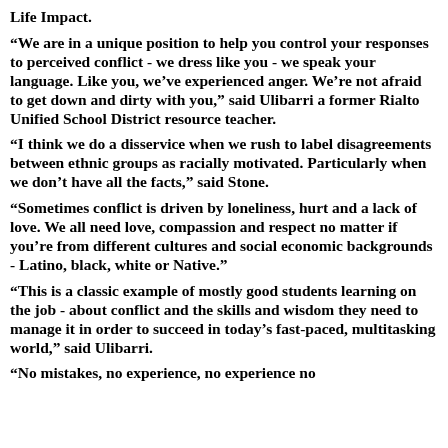Life Impact.
“We are in a unique position to help you control your responses to perceived conflict - we dress like you - we speak your language. Like you, we’ve experienced anger. We’re not afraid to get down and dirty with you,” said Ulibarri a former Rialto Unified School District resource teacher.
“I think we do a disservice when we rush to label disagreements between ethnic groups as racially motivated. Particularly when we don’t have all the facts,” said Stone.
“Sometimes conflict is driven by loneliness, hurt and a lack of love. We all need love, compassion and respect no matter if you’re from different cultures and social economic backgrounds - Latino, black, white or Native.”
“This is a classic example of mostly good students learning on the job - about conflict and the skills and wisdom they need to manage it in order to succeed in today’s fast-paced, multitasking world,” said Ulibarri.
“No mistakes, no experience, no experience no